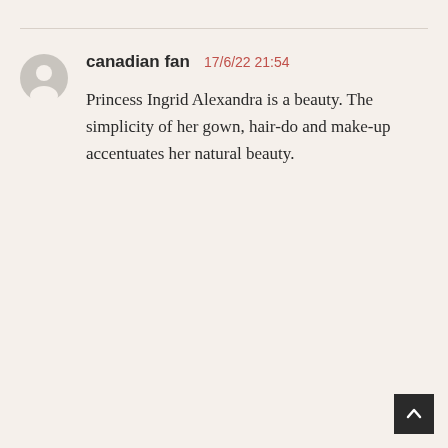[Figure (illustration): Gray circular user avatar icon]
canadian fan  17/6/22 21:54
Princess Ingrid Alexandra is a beauty. The simplicity of her gown, hair-do and make-up accentuates her natural beauty.